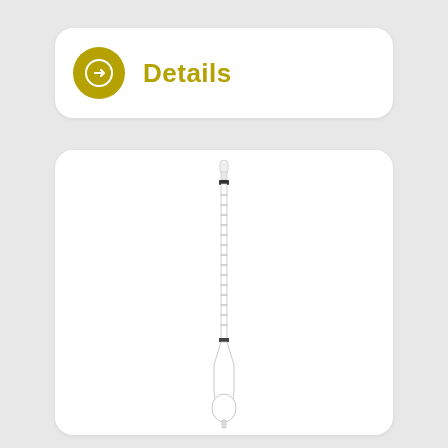Details
[Figure (photo): A laboratory glass hydrometer or thermometer instrument shown vertically, with a narrow graduated tube at top and a glass bulb at the bottom, displayed on white background.]